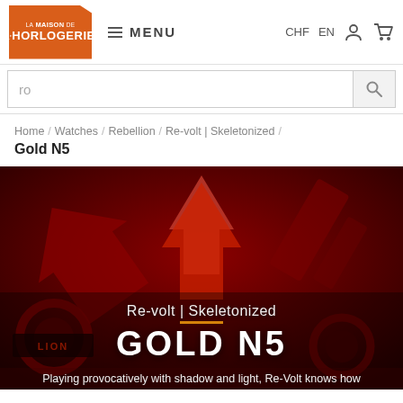La Maison de l'Horlogerie — MENU | CHF EN
ro
Home / Watches / Rebellion / Re-volt | Skeletonized /
Gold N5
[Figure (photo): Dark red-tinted close-up photo of mechanical watch movement parts, gears, and components with the Rebellion brand logo visible]
Re-volt | Skeletonized
GOLD N5
Playing provocatively with shadow and light, Re-Volt knows how